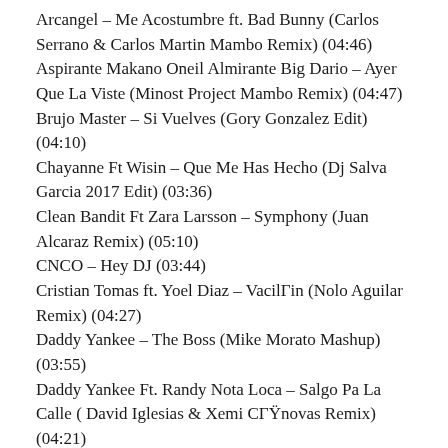Arcangel – Me Acostumbre ft. Bad Bunny (Carlos Serrano & Carlos Martin Mambo Remix) (04:46)
Aspirante Makano Oneil Almirante Big Dario – Ayer Que La Viste (Minost Project Mambo Remix) (04:47)
Brujo Master – Si Vuelves (Gory Gonzalez Edit) (04:10)
Chayanne Ft Wisin – Que Me Has Hecho (Dj Salva Garcia 2017 Edit) (03:36)
Clean Bandit Ft Zara Larsson – Symphony (Juan Alcaraz Remix) (05:10)
CNCO – Hey DJ (03:44)
Cristian Tomas ft. Yoel Diaz – VacilΓin (Nolo Aguilar Remix) (04:27)
Daddy Yankee – The Boss (Mike Morato Mashup) (03:55)
Daddy Yankee Ft. Randy Nota Loca – Salgo Pa La Calle ( David Iglesias & Xemi CГŸnovas Remix) (04:21)
Danny Ocean – Me Rehuso (David Marley Remix)